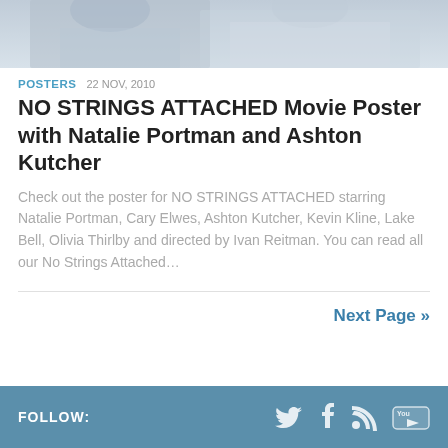[Figure (photo): Top portion of a movie-related photo showing two people, partially cropped]
POSTERS  22 NOV, 2010
NO STRINGS ATTACHED Movie Poster with Natalie Portman and Ashton Kutcher
Check out the poster for NO STRINGS ATTACHED starring Natalie Portman, Cary Elwes, Ashton Kutcher, Kevin Kline, Lake Bell, Olivia Thirlby and directed by Ivan Reitman. You can read all our No Strings Attached…
Next Page »
FOLLOW: